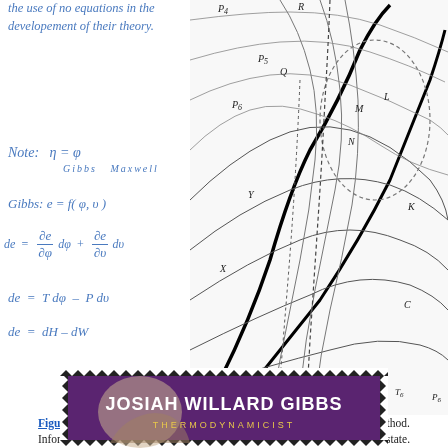the use of no equations in the developement of their theory.
[Figure (engineering-diagram): Maxwell's graphical model based on Gibbs' original graphical method, showing thermodynamic curves with labeled points P, Q, R, M, N, L, K, C, X, Y, T1-T6, P6 and various intersecting curves including dotted curves.]
Figure 3. Maxwell's graphical model based on Gibbs' original graphical method. Information highlighted in light blue shows a connection to the equation of state.
[Figure (photo): Postage stamp showing Josiah Willard Gibbs labeled as THERMODYNAMICIST with a portrait photo on purple background with decorative stamp border.]